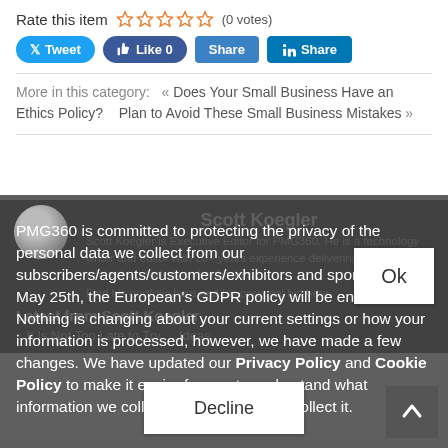Rate this item ☆☆☆☆☆ (0 votes)
[Figure (screenshot): Social share buttons: Tweet, Like 0, Share, in Share]
More in this category: « Does Your Small Business Have an Ethics Policy?   Plan to Avoid These Small Business Mistakes »
Scott Koegler
Scott Koegler is Executive Editor for PMG360. He is a technology writer and editor with 20+ years experience delivering high value content to readers and publishers.
Find his portfolio here and his personal bio here
PMG360 is committed to protecting the privacy of the personal data we collect from our subscribers/agents/customers/exhibitors and sponsors. On May 25th, the European's GDPR policy will be enforced. Nothing is changing about your current settings or how your information is processed, however, we have made a few changes. We have updated our Privacy Policy and Cookie Policy to make it easier for you to understand what information we collect, how and why we collect it.
Ok
Latest from Scott Koegler
It Is Not Too Late to Try ... Ideas
Decline